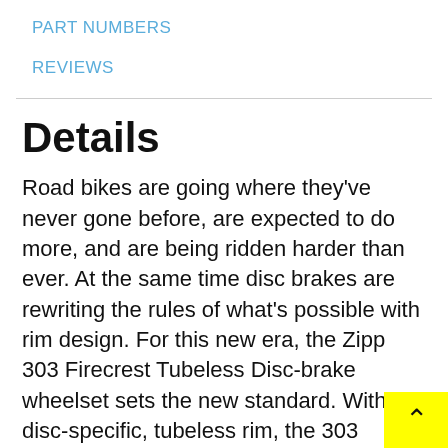PART NUMBERS
REVIEWS
Details
Road bikes are going where they've never gone before, are expected to do more, and are being ridden harder than ever. At the same time disc brakes are rewriting the rules of what's possible with rim design. For this new era, the Zipp 303 Firecrest Tubeless Disc-brake wheelset sets the new standard. With a disc-specific, tubeless rim, the 303 Firecrest Carbon Clincher is now internally 21mm wide and faster than ever. Designed from the st… as a tubeless rim, the 303 Firecrest features a